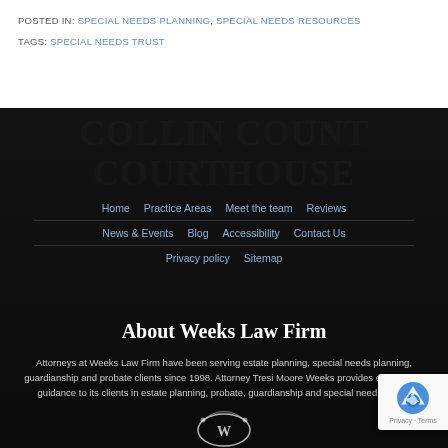POSTED IN: SPECIAL NEEDS PLANNING, SPECIAL NEEDS RESOURCES
TAGS: SPECIAL NEEDS TRUST
[Figure (photo): Dark background showing Collin County Courthouse exterior with columns and windows]
Home | Practice Areas | Meet the team | Reviews | News & Events | Blog | Accessibility | Contact Us | Privacy policy | Sitemap
About Weeks Law Firm
Attorneys at Weeks Law Firm have been serving estate planning, special needs planning, guardianship and probate clients since 1998. Attorney Tresi Moore Weeks provides exceptional guidance to its clients in estate planning, probate, guardianship and special needs trusts.